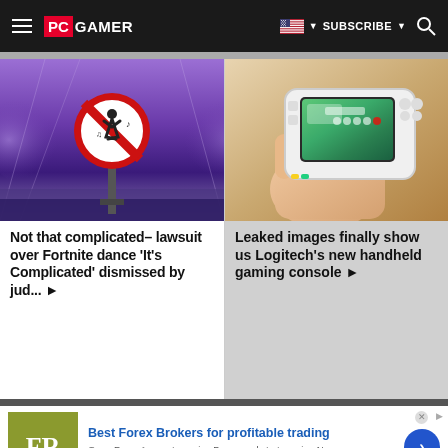PC GAMER | SUBSCRIBE
[Figure (photo): Fortnite no-dance prohibition sign against purple sky background]
Not that complicated– lawsuit over Fortnite dance 'It's Complicated' dismissed by jud... ▶
[Figure (photo): Hands holding Logitech handheld gaming console with green screen]
Leaked images finally show us Logitech's new handheld gaming console ▶
Best Forex Brokers for profitable trading
Open Forex Account, receive Bonus and start earning Now
forex-ratings.com